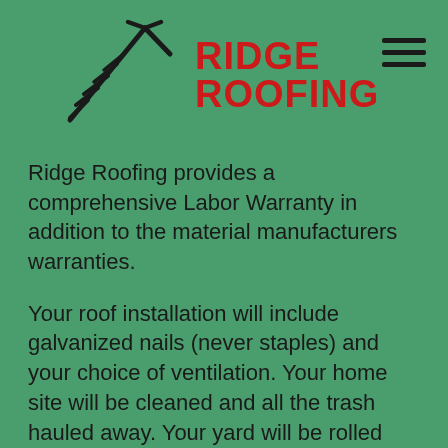[Figure (logo): Ridge Roofing logo with a stylized house roofline/tree illustration in black and red bold text reading RIDGE ROOFING]
Ridge Roofing provides a comprehensive Labor Warranty in addition to the material manufacturers warranties.
Your roof installation will include galvanized nails (never staples) and your choice of ventilation. Your home site will be cleaned and all the trash hauled away. Your yard will be rolled with a magnet to pick up nails and other metal that may have fallen off the roof.
We'll make sure you get the best materials and